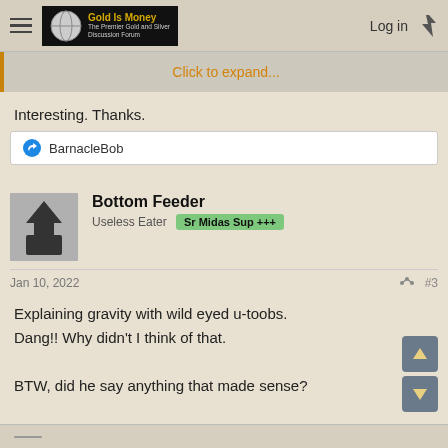Gold Is Money — The Premier Gold and Silver Discussion Forum | Log in
Click to expand...
Interesting. Thanks.
BarnacleBob
Bottom Feeder
Useless Eater  Sr Midas Sup +++
Jan 10, 2022  #3
Explaining gravity with wild eyed u-toobs.
Dang!! Why didn't I think of that.

BTW, did he say anything that made sense?

BF